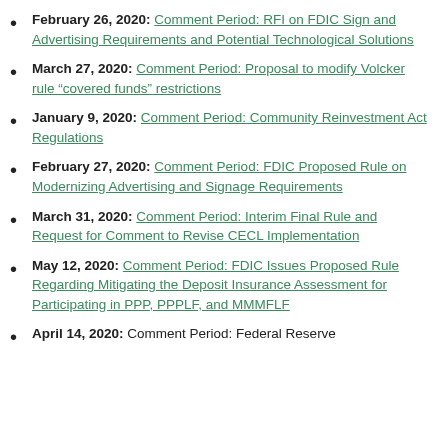February 26, 2020: Comment Period: RFI on FDIC Sign and Advertising Requirements and Potential Technological Solutions
March 27, 2020: Comment Period: Proposal to modify Volcker rule “covered funds” restrictions
January 9, 2020: Comment Period: Community Reinvestment Act Regulations
February 27, 2020: Comment Period: FDIC Proposed Rule on Modernizing Advertising and Signage Requirements
March 31, 2020: Comment Period: Interim Final Rule and Request for Comment to Revise CECL Implementation
May 12, 2020: Comment Period: FDIC Issues Proposed Rule Regarding Mitigating the Deposit Insurance Assessment for Participating in PPP, PPPLF, and MMMFLF
April 14, 2020: Comment Period: Federal Reserve